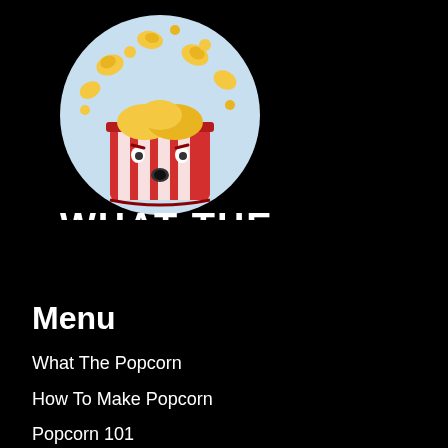[Figure (logo): Cartoon popcorn bucket character with a surprised face, popcorn flying out, inside a light blue circle. Below the logo illustration are the words WHAT THE POPCORN in a hand-drawn white font.]
Menu
What The Popcorn
How To Make Popcorn
Popcorn 101
Fun With Popcorn
Product Reviews